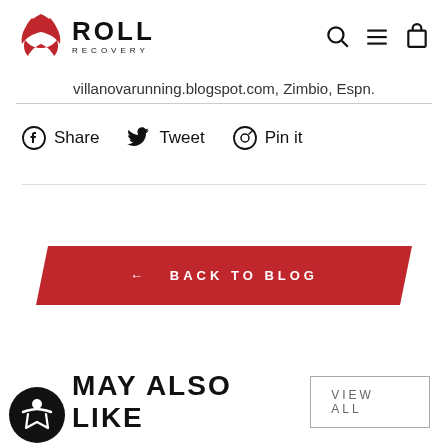ROLL RECOVERY
villanovarunning.blogspot.com, Zimbio, Espn.
Share  Tweet  Pin it
← BACK TO BLOG
MAY ALSO LIKE
VIEW ALL